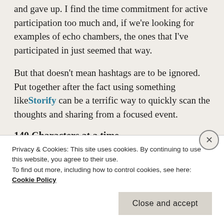and gave up.  I find the time commitment for active participation too much and, if we're looking for examples of echo chambers, the ones that I've participated in just seemed that way.
But that doesn't mean hashtags are to be ignored.  Put together after the fact using something like Storify can be a terrific way to quickly scan the thoughts and sharing from a focused event.
140 Characters at a time
Anything Meaty?  I got taken to task yesterday for sharing the post about Twitter and Facebook
Privacy & Cookies: This site uses cookies. By continuing to use this website, you agree to their use.
To find out more, including how to control cookies, see here: Cookie Policy